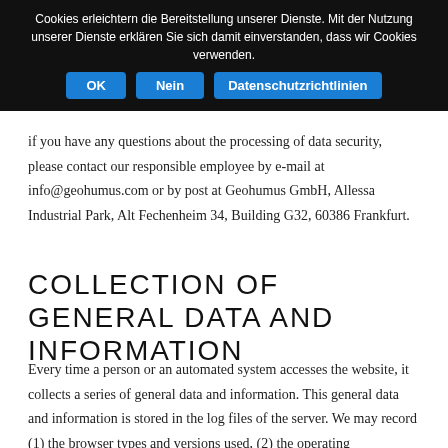Cookies erleichtern die Bereitstellung unserer Dienste. Mit der Nutzung unserer Dienste erklären Sie sich damit einverstanden, dass wir Cookies verwenden.
OK | Nein | Datenschutzrichtlinien
if you have any questions about the processing of data security, please contact our responsible employee by e-mail at info@geohumus.com or by post at Geohumus GmbH, Allessa Industrial Park, Alt Fechenheim 34, Building G32, 60386 Frankfurt.
COLLECTION OF GENERAL DATA AND INFORMATION
Every time a person or an automated system accesses the website, it collects a series of general data and information. This general data and information is stored in the log files of the server. We may record (1) the browser types and versions used, (2) the operating